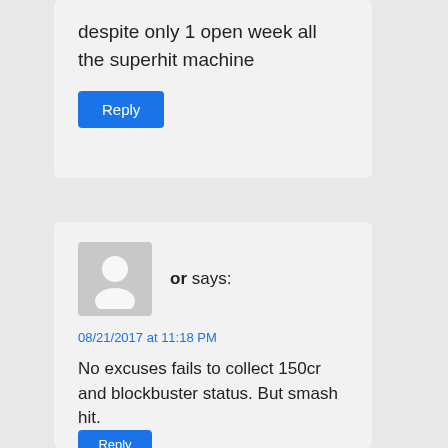despite only 1 open week all the superhit machine
Reply
[Figure (illustration): Generic user avatar placeholder - grey square with white silhouette of a person]
or says:
08/21/2017 at 11:18 PM
No excuses fails to collect 150cr and blockbuster status. But smash hit.
Reply